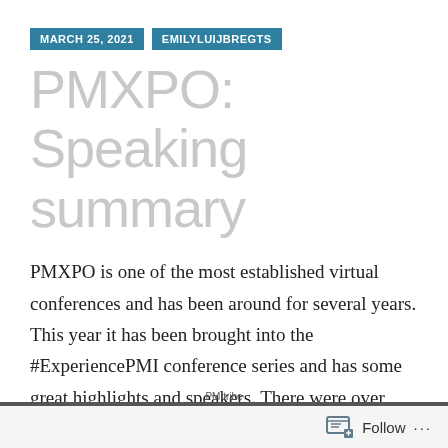MARCH 25, 2021   EMILYLUIJBREGTS
PMXPO: Speaking summary
PMXPO is one of the most established virtual conferences and has been around for several years. This year it has been brought into the #ExperiencePMI conference series and has some great highlights and speakers. There were over 60,000 registered attendees.